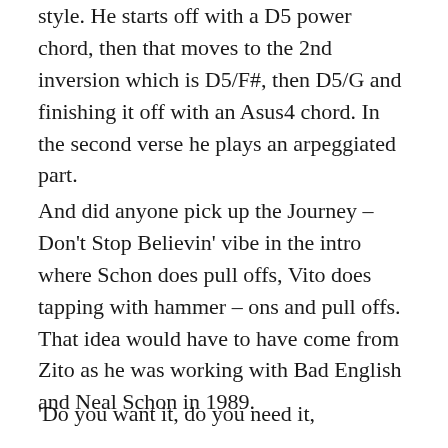style. He starts off with a D5 power chord, then that moves to the 2nd inversion which is D5/F#, then D5/G and finishing it off with an Asus4 chord. In the second verse he plays an arpeggiated part.
And did anyone pick up the Journey – Don't Stop Believin' vibe in the intro where Schon does pull offs, Vito does tapping with hammer – ons and pull offs. That idea would have to have come from Zito as he was working with Bad English and Neal Schon in 1989.
'Do you want it, do you need it,